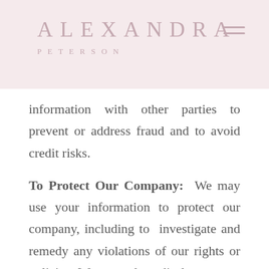ALEXANDRA PETERSON
information with other parties to prevent or address fraud and to avoid credit risks.
To Protect Our Company: We may use your information to protect our company, including to investigate and remedy any violations of our rights or policies. We may also disclose your information as reasonably necessary to acquire and